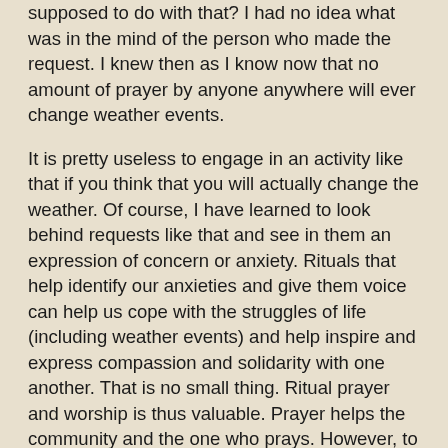supposed to do with that? I had no idea what was in the mind of the person who made the request. I knew then as I know now that no amount of prayer by anyone anywhere will ever change weather events.
It is pretty useless to engage in an activity like that if you think that you will actually change the weather. Of course, I have learned to look behind requests like that and see in them an expression of concern or anxiety. Rituals that help identify our anxieties and give them voice can help us cope with the struggles of life (including weather events) and help inspire and express compassion and solidarity with one another. That is no small thing. Ritual prayer and worship is thus valuable. Prayer helps the community and the one who prays. However, to expect that prayers, rituals, sacrifices, offerings, or changing our behavior will manipulate God into changing the weather for us is a futile hope.
Someone might bring up that changes in climate are the result of human activity. One could say that the tornadoes and floods and so forth are a judgment on humankind for embracing the sinful lifestyle of carelessly using fossil fuels. That might be a better theory, but the reason they are still